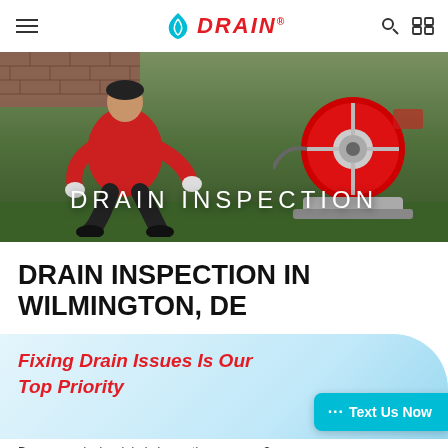DRAIN (logo with leaf icon, search icon, grid icon)
[Figure (photo): A technician in a red shirt kneeling on grass operating a large red drain cleaning machine, with a brick wall and greenery in the background. Overlay text reads DRAIN INSPECTION.]
DRAIN INSPECTION IN WILMINGTON, DE
Fixing Drain Issues Is Our Top Priority
··· Text Us Now
Do you need a local drain inspection company?